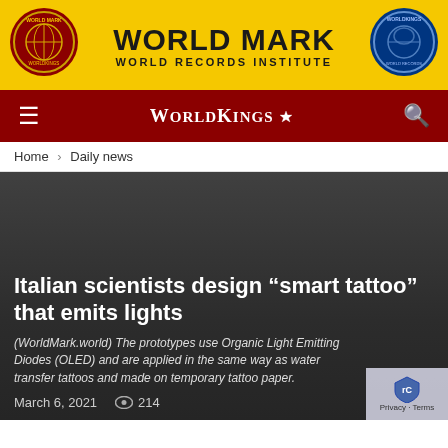[Figure (logo): World Mark World Records Institute banner with yellow background, globe logo on left, WorldKings badge on right, and bold text 'WORLD MARK / WORLD RECORDS INSTITUTE' in center]
WorldKings
Home › Daily news
Italian scientists design “smart tattoo” that emits lights
(WorldMark.world) The prototypes use Organic Light Emitting Diodes (OLED) and are applied in the same way as water transfer tattoos and made on temporary tattoo paper.
March 6, 2021   214